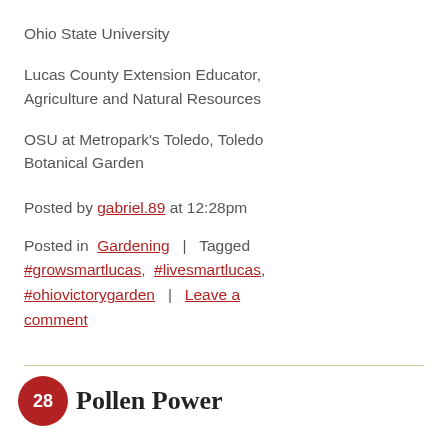Ohio State University
Lucas County Extension Educator, Agriculture and Natural Resources
OSU at Metropark's Toledo, Toledo Botanical Garden
Posted by gabriel.89 at 12:28pm
Posted in Gardening | Tagged #growsmartlucas, #livesmartlucas, #ohiovictorygarden | Leave a comment
Pollen Power